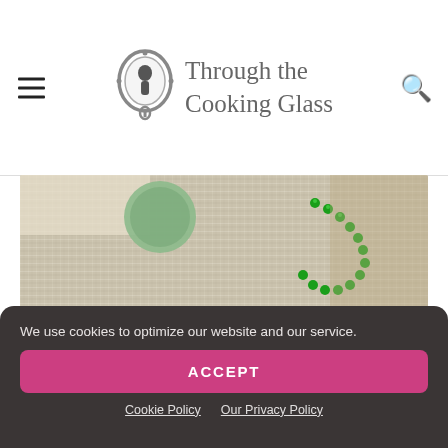Through the Cooking Glass
[Figure (photo): Partial photo of a striped cloth/tablecloth with a green circular object and green bead necklace]
What is a sherbet float?
We use cookies to optimize our website and our service.
ACCEPT
Cookie Policy  Our Privacy Policy